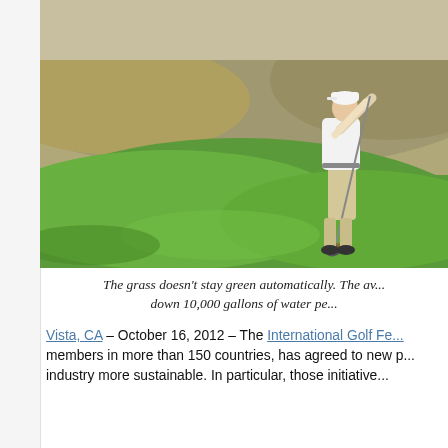[Figure (photo): A golfer in white shirt and khaki pants swinging a golf club on a green golf course fairway, with brown scrubby hills in the background.]
The grass doesn't stay green automatically. The av... down 10,000 gallons of water pe...
Vista, CA – October 16, 2012 – The International Golf Fe... members in more than 150 countries, has agreed to new p... industry more sustainable. In particular, those initiative...